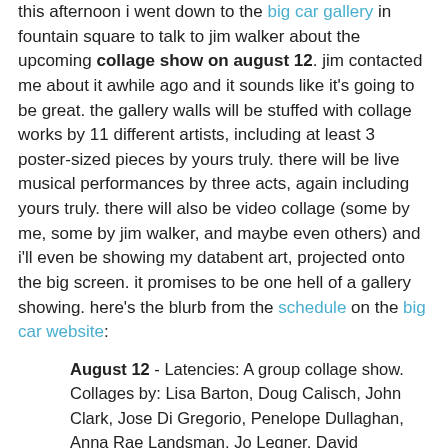this afternoon i went down to the big car gallery in fountain square to talk to jim walker about the upcoming collage show on august 12. jim contacted me about it awhile ago and it sounds like it's going to be great. the gallery walls will be stuffed with collage works by 11 different artists, including at least 3 poster-sized pieces by yours truly. there will be live musical performances by three acts, again including yours truly. there will also be video collage (some by me, some by jim walker, and maybe even others) and i'll even be showing my databent art, projected onto the big screen. it promises to be one hell of a gallery showing. here's the blurb from the schedule on the big car website:
August 12 - Latencies: A group collage show. Collages by: Lisa Barton, Doug Calisch, John Clark, Jose Di Gregorio, Penelope Dullaghan, Anna Rae Landsman, Jo Legner, David Mattingly, Kipp Normand, Jason Pierce, Eric Pohlman, Jackie Stover, stAllio!, Jim Walker, and Sue Anne Zollinger. Musical entertainment by: Experimental sound collagist stAllio!, The Hoover, and the Spontaneous Sound Collective. 6-9 p.m. Other